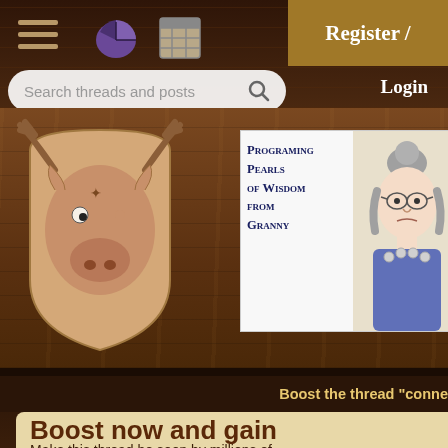[Figure (screenshot): Website screenshot of a forum/community site with a wood-paneled theme. Shows navigation bar with hamburger menu, pie chart icon, grid icon, Register button, Login link, and search bar. Below is a wood background with a moose illustration on the left, two advertisement banners (Programming Pearls of Wisdom from Granny, and Book Review Grid). A darker bottom section shows 'Boost the thread conne...' header and a beige content panel with 'Boost now and gain more exposure!' heading and partial text 'Make this thread be seen by millions of']